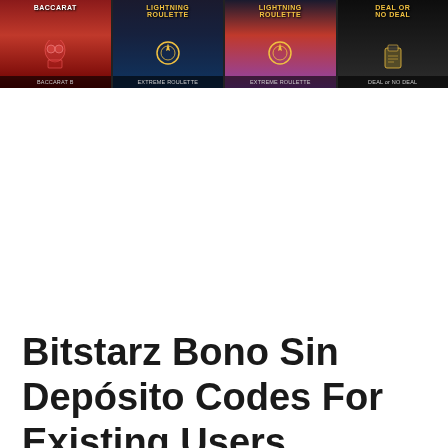[Figure (screenshot): A banner showing four casino game thumbnails: Baccarat, Lightning Roulette, Lightning Roulette variant, and Deal or No Deal. Dark themed casino game cards with text labels beneath each.]
Bitstarz Bono Sin Depósito Codes For Existing Users
Casobet is a site launched in 2021 by